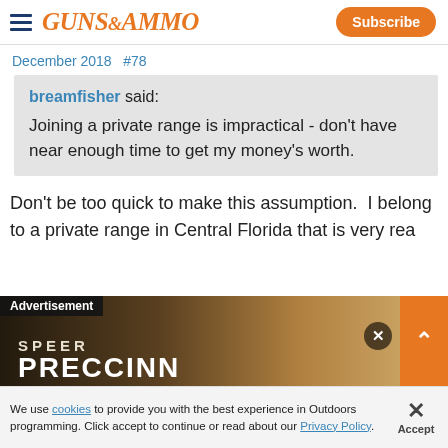GUNS&AMMO | Subscribe
December 2018   #78
breamfisher said:
Joining a private range is impractical - don't have near enough time to get my money's worth.
Don't be too quick to make this assumption.  I belong to a private range in Central Florida that is very rea...
[Figure (screenshot): Advertisement overlay showing Speer Precision ammunition ad with close button and expand arrow]
We use cookies to provide you with the best experience in Outdoors programming. Click accept to continue or read about our Privacy Policy.